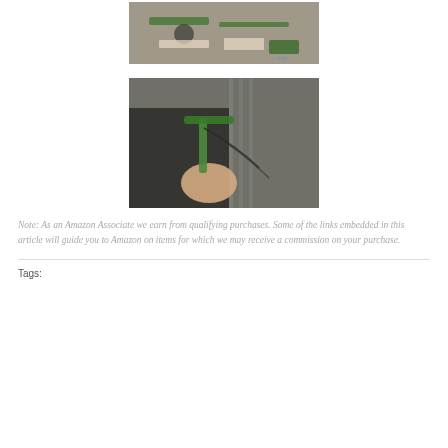[Figure (photo): Overhead view of green bicycle fork/suspension parts laid out on a workbench with tools and papers, watermark visible in bottom-right corner]
[Figure (photo): Person in black clothing holding green bicycle handlebars/stem assembly with cables, close-up view]
Note: As an Amazon Associate we earn from qualifying purchases. Some of the links embedded in this article will guide you to Amazon on items for which we may receive a commission on your purchase.
Tags: